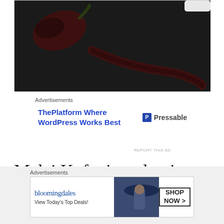[Figure (photo): Dark background with dried red chili peppers on a dark surface, partial view cropped at top of page]
Advertisements
[Figure (screenshot): Advertisement banner: ThePlatform Where WordPress Works Best — Pressable logo on right]
REPORT THIS AD
Malai Kofta is a classic north Indian dish originated from the
Advertisements
[Figure (screenshot): Bloomingdales advertisement: bloomingdales logo, View Today's Top Deals!, woman in hat, SHOP NOW > button]